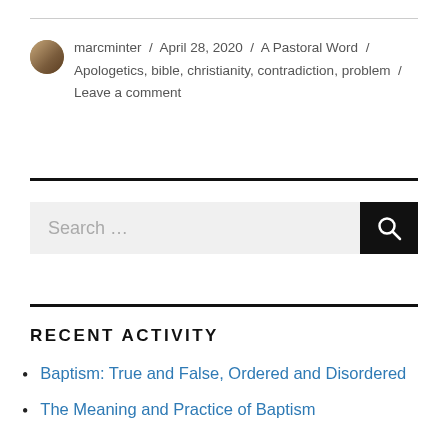marcminter / April 28, 2020 / A Pastoral Word / Apologetics, bible, christianity, contradiction, problem / Leave a comment
RECENT ACTIVITY
Baptism: True and False, Ordered and Disordered
The Meaning and Practice of Baptism